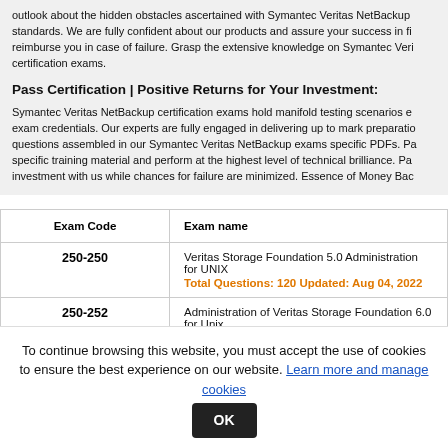outlook about the hidden obstacles ascertained with Symantec Veritas NetBackup standards. We are fully confident about our products and assure your success in fi reimburse you in case of failure. Grasp the extensive knowledge on Symantec Veri certification exams.
Pass Certification | Positive Returns for Your Investment:
Symantec Veritas NetBackup certification exams hold manifold testing scenarios e exam credentials. Our experts are fully engaged in delivering up to mark preparatio questions assembled in our Symantec Veritas NetBackup exams specific PDFs. Pa specific training material and perform at the highest level of technical brilliance. Pa investment with us while chances for failure are minimized. Essence of Money Bac
| Exam Code | Exam name |
| --- | --- |
| 250-250 | Veritas Storage Foundation 5.0 Administration for UNIX
Total Questions: 120  Updated: Aug 04, 2022 |
| 250-252 | Administration of Veritas Storage Foundation 6.0 for Unix
Total Questions: 230  Updated: Aug 16, 2022 |
To continue browsing this website, you must accept the use of cookies to ensure the best experience on our website. Learn more and manage cookies OK